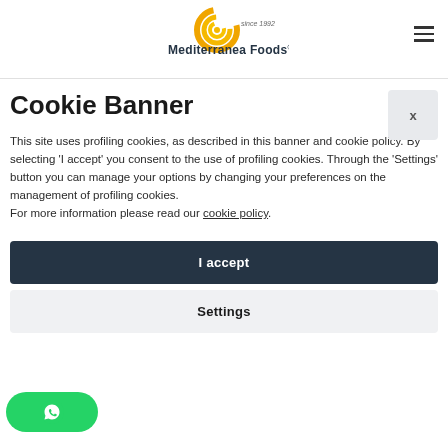[Figure (logo): Mediterranea Foods logo with golden spiral and text 'Mediterranea Foods® since 1992']
Cookie Banner
This site uses profiling cookies, as described in this banner and cookie policy. By selecting 'I accept' you consent to the use of profiling cookies. Through the 'Settings' button you can manage your options by changing your preferences on the management of profiling cookies.
For more information please read our cookie policy.
I accept
Settings